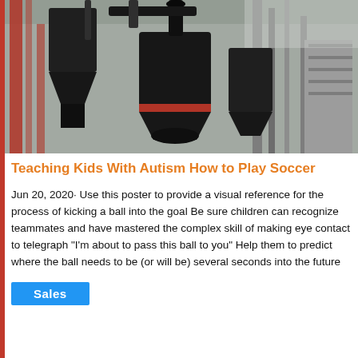[Figure (photo): Industrial machinery interior — large black conical grinding/milling machines, pipes, ducts, metal framework in a warehouse or factory setting. Red structural columns visible on the left.]
Teaching Kids With Autism How to Play Soccer
Jun 20, 2020· Use this poster to provide a visual reference for the process of kicking a ball into the goal Be sure children can recognize teammates and have mastered the complex skill of making eye contact to telegraph "I'm about to pass this ball to you" Help them to predict where the ball needs to be (or will be) several seconds into the future
Sales